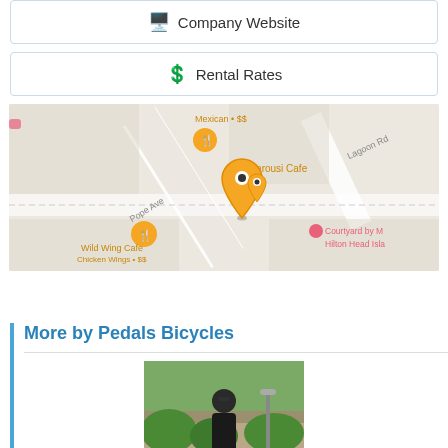🖥 Company Website
💲 Rental Rates
[Figure (map): Google Maps view showing the location near Pope Ave, Hilton Head Island. Nearby landmarks include Wild Wing Cafe (Chicken Wings • $$), Warousi Cafe, Courtyard by Marriott Hilton Head Island, and a Mexican restaurant ($$). An orange location pin marks the business location.]
More by Pedals Bicycles
[Figure (photo): A person wearing sunglasses standing outdoors near green shrubs and a building.]